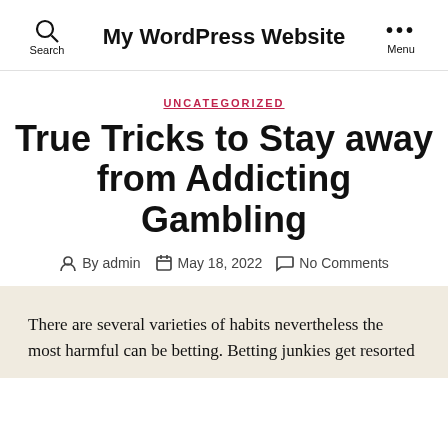My WordPress Website
UNCATEGORIZED
True Tricks to Stay away from Addicting Gambling
By admin   May 18, 2022   No Comments
There are several varieties of habits nevertheless the most harmful can be betting. Betting junkies get resorted